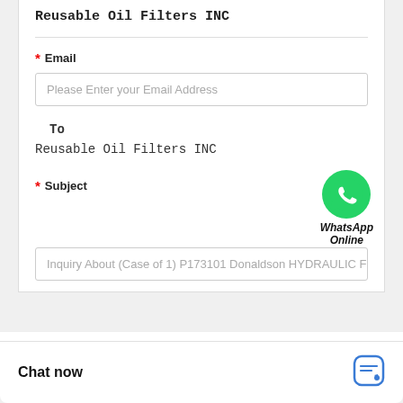Reusable Oil Filters INC
* Email
Please Enter your Email Address
To
Reusable Oil Filters INC
* Subject
[Figure (logo): WhatsApp green circle logo with phone icon, labeled 'WhatsApp Online']
Inquiry About (Case of 1) P173101 Donaldson HYDRAULIC FIL
X  Quick question
k question
[Figure (other): Three dots loading indicator popup]
Chat now